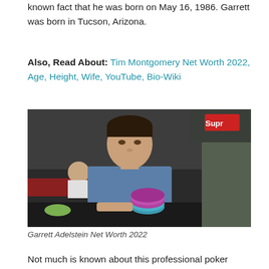known fact that he was born on May 16, 1986. Garrett was born in Tucson, Arizona.
Also, Read About: Tim Montgomery Net Worth 2022, Age, Height, Wife, YouTube, Bio-Wiki
[Figure (photo): Garrett Adelstein sitting at a poker table with poker chips, facing another player wearing a dark cap with a red Supreme logo, in an indoor setting.]
Garrett Adelstein Net Worth 2022
Not much is known about this professional poker player's